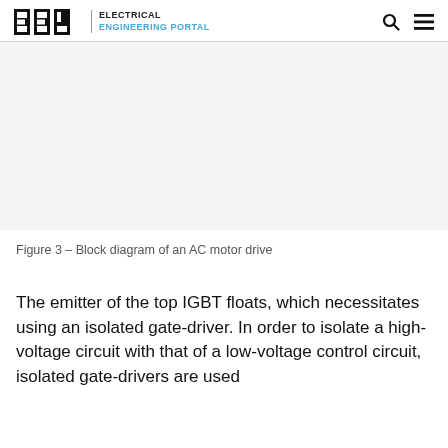EEP | ELECTRICAL ENGINEERING PORTAL
[Figure (other): Empty/blank gray area representing a block diagram of an AC motor drive (image placeholder)]
Figure 3 – Block diagram of an AC motor drive
The emitter of the top IGBT floats, which necessitates using an isolated gate-driver. In order to isolate a high-voltage circuit with that of a low-voltage control circuit, isolated gate-drivers are used